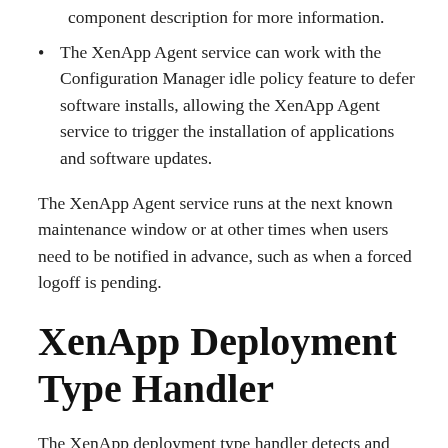component description for more information.
The XenApp Agent service can work with the Configuration Manager idle policy feature to defer software installs, allowing the XenApp Agent service to trigger the installation of applications and software updates.
The XenApp Agent service runs at the next known maintenance window or at other times when users need to be notified in advance, such as when a forced logoff is pending.
XenApp Deployment Type Handler
The XenApp deployment type handler detects and manages publications associated with an application